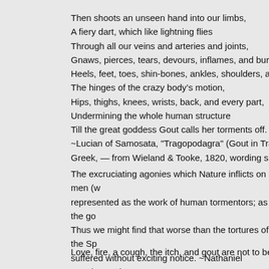Then shoots an unseen hand into our limbs,
A fiery dart, which like lightning flies
Through all our veins and arteries and joints,
Gnaws, pierces, tears, devours, inflames, and burns
Heels, feet, toes, shin-bones, ankles, shoulders, arms,
The hinges of the crazy body’s motion,
Hips, thighs, knees, wrists, back, and every part,
Undermining the whole human structure
Till the great goddess Gout calls her torments off.
~Lucian of Samosata, "Tragopodagra" (Gout in Tragedy)
Greek, — from Wieland & Tooke, 1820, wording slightly
The excruciating agonies which Nature inflicts on men (w represented as the work of human tormentors; as the go Thus we might find that worse than the tortures of the Sp suffered without exciting notice. ~Nathaniel Hawthorne, j Salem
Love, fire, a cough, the itch, and gout are not to be conc